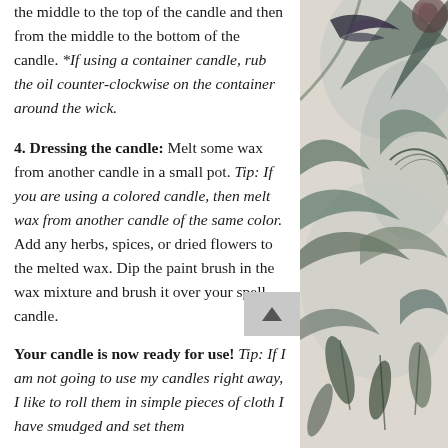the middle to the top of the candle and then from the middle to the bottom of the candle. *If using a container candle, rub the oil counter-clockwise on the container around the wick.
4. Dressing the candle: Melt some wax from another candle in a small pot. Tip: If you are using a colored candle, then melt wax from another candle of the same color. Add any herbs, spices, or dried flowers to the melted wax. Dip the paint brush in the wax mixture and brush it over your spell candle.
Your candle is now ready for use! Tip: If I am not going to use my candles right away, I like to roll them in simple pieces of cloth I have smudged and set them
[Figure (illustration): Decorative botanical illustration with birds and tropical foliage on a light grey/beige background]